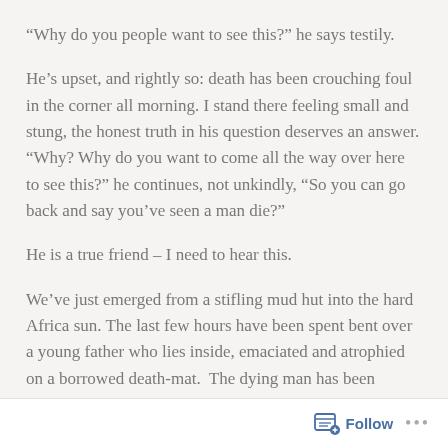“Why do you people want to see this?” he says testily.
He’s upset, and rightly so: death has been crouching foul in the corner all morning. I stand there feeling small and stung, the honest truth in his question deserves an answer. “Why? Why do you want to come all the way over here to see this?” he continues, not unkindly, “So you can go back and say you’ve seen a man die?”
He is a true friend – I need to hear this.
We’ve just emerged from a stifling mud hut into the hard Africa sun. The last few hours have been spent bent over a young father who lies inside, emaciated and atrophied on a borrowed death-mat.  The dying man has been abandoned by wife, children, family, and village. He cannot
Follow ...